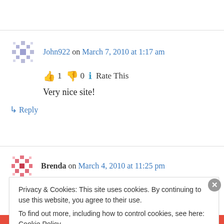John922 on March 7, 2010 at 1:17 am
👍 1 👎 0 ℹ Rate This
Very nice site!
↳ Reply
Brenda on March 4, 2010 at 11:25 pm
Privacy & Cookies: This site uses cookies. By continuing to use this website, you agree to their use.
To find out more, including how to control cookies, see here: Cookie Policy
Close and accept